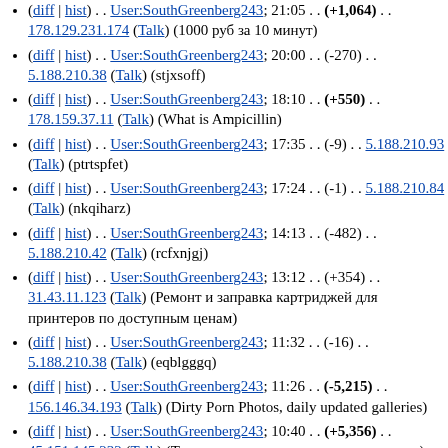(diff | hist) . . User:SouthGreenberg243; 21:05 . . (+1,064) . . 178.129.231.174 (Talk) (1000 руб за 10 минут)
(diff | hist) . . User:SouthGreenberg243; 20:00 . . (-270) . . 5.188.210.38 (Talk) (stjxsoff)
(diff | hist) . . User:SouthGreenberg243; 18:10 . . (+550) . . 178.159.37.11 (Talk) (What is Ampicillin)
(diff | hist) . . User:SouthGreenberg243; 17:35 . . (-9) . . 5.188.210.93 (Talk) (ptrtspfet)
(diff | hist) . . User:SouthGreenberg243; 17:24 . . (-1) . . 5.188.210.84 (Talk) (nkqiharz)
(diff | hist) . . User:SouthGreenberg243; 14:13 . . (-482) . . 5.188.210.42 (Talk) (rcfxnjgj)
(diff | hist) . . User:SouthGreenberg243; 13:12 . . (+354) . . 31.43.11.123 (Talk) (Ремонт и заправка картриджей для принтеров по доступным ценам)
(diff | hist) . . User:SouthGreenberg243; 11:32 . . (-16) . . 5.188.210.38 (Talk) (eqblgggq)
(diff | hist) . . User:SouthGreenberg243; 11:26 . . (-5,215) . . 156.146.34.193 (Talk) (Dirty Porn Photos, daily updated galleries)
(diff | hist) . . User:SouthGreenberg243; 10:40 . . (+5,356) . . 45.151.145.232 (Talk) (Торговая площадка продуктов питания)
(diff | hist) . . User:SouthGreenberg243; 10:36 . . (-36) . .